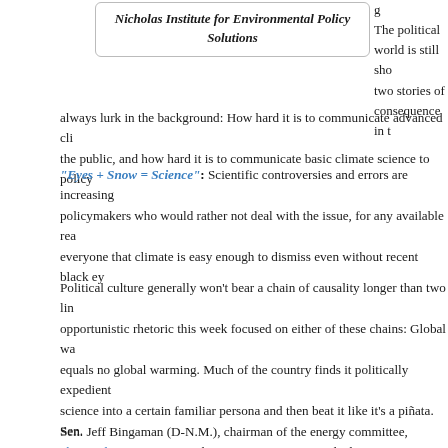[Figure (other): Box with italic bold text: Nicholas Institute for Environmental Policy Solutions]
The political world is still showing two stories of consequence in the background: always lurk in the background: How hard it is to communicate advanced climate science to the public, and how hard it is to communicate basic climate science to policy
“Eyes + Snow = Science”: Scientific controversies and errors are increasingly used by policymakers who would rather not deal with the issue, for any available reason, to convince everyone that climate is easy enough to dismiss even without recent black eyes.
Political culture generally won’t bear a chain of causality longer than two links. The opportunistic rhetoric this week focused on either of these chains: Global warming equals no global warming. Much of the country finds it politically expedient to dress climate science into a certain familiar persona and then beat it like it’s a piñata. Sen. tweeted over Twitter, “It’s going to keep snowing in DC until Al Gore cries ‘uncle.’”, and displayed an ice castle that he described as the former vice president’s new home. That plays to an audience that doesn’t know or care that climate change has nothing to do with snow, ridiculed the National Oceanic and Atmospheric Administration (NOAA) for launching a service, Climate.gov, over teleconference rather than a live press conference.
Sen. Jeff Bingaman (D-N.M.), chairman of the energy committee, observed that legislation more difficult politically.
In reality, climate change has a causality chain not of, say, two links but of m